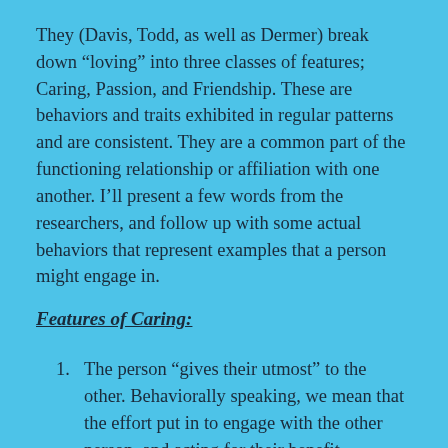They (Davis, Todd, as well as Dermer) break down “loving” into three classes of features; Caring, Passion, and Friendship. These are behaviors and traits exhibited in regular patterns and are consistent. They are a common part of the functioning relationship or affiliation with one another. I’ll present a few words from the researchers, and follow up with some actual behaviors that represent examples that a person might engage in.
Features of Caring:
The person “gives their utmost” to the other. Behaviorally speaking, we mean that the effort put in to engage with the other person, and acting for their benefit